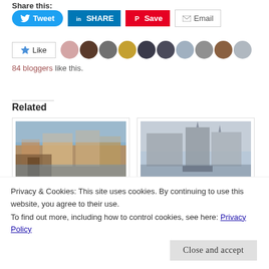Share this:
[Figure (screenshot): Social share buttons: Tweet (Twitter), SHARE (LinkedIn), Save (Pinterest), Email]
[Figure (screenshot): Like button with star icon and avatar strip of 10 blogger profile photos]
84 bloggers like this.
Related
[Figure (photo): Aerial cityscape of Budapest with river and historic buildings on left]
[Figure (photo): Hazy cityscape of Budapest with large building and river, boat visible on right]
Privacy & Cookies: This site uses cookies. By continuing to use this website, you agree to their use.
To find out more, including how to control cookies, see here: Privacy Policy